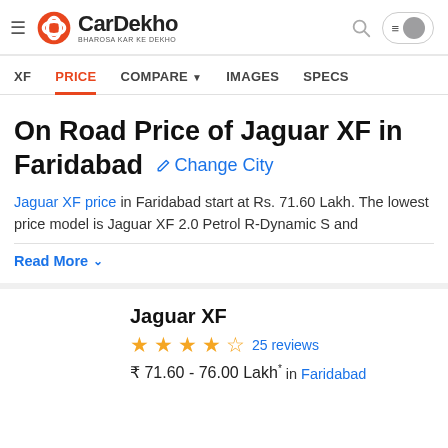CarDekho | BHAROSA KAR KE DEKHO
XF | PRICE | COMPARE | IMAGES | SPECS
On Road Price of Jaguar XF in Faridabad  Change City
Jaguar XF price in Faridabad start at Rs. 71.60 Lakh. The lowest price model is Jaguar XF 2.0 Petrol R-Dynamic S and
Read More
Jaguar XF
★★★★☆ 25 reviews
₹ 71.60 - 76.00 Lakh* in Faridabad